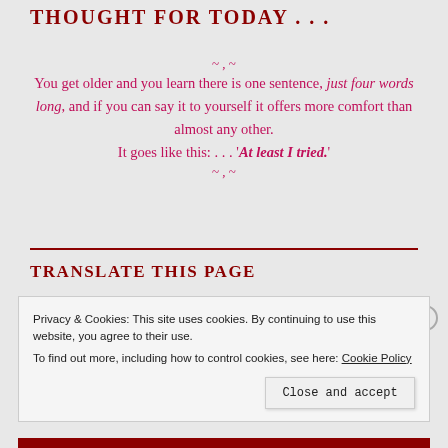THOUGHT FOR TODAY . . .
~ , ~
You get older and you learn there is one sentence, just four words long, and if you can say it to yourself it offers more comfort than almost any other. It goes like this: . . . 'At least I tried.'
~ , ~
TRANSLATE THIS PAGE
Privacy & Cookies: This site uses cookies. By continuing to use this website, you agree to their use. To find out more, including how to control cookies, see here: Cookie Policy
Close and accept